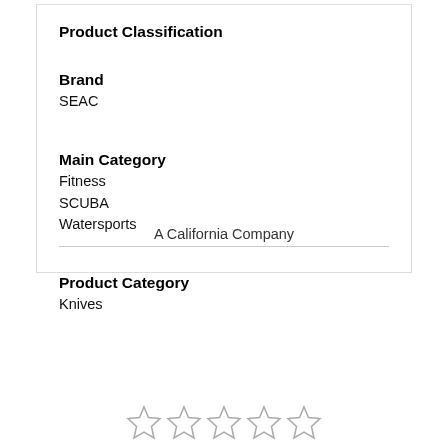Product Classification
Brand
SEAC
Main Category
Fitness
SCUBA
Watersports
Product Category
Knives
A California Company
[Figure (other): Five empty star rating icons in a row]